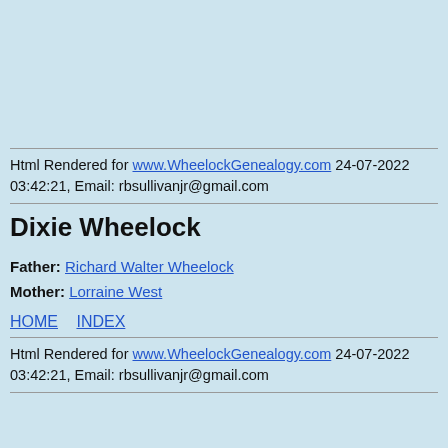Html Rendered for www.WheelockGenealogy.com 24-07-2022 03:42:21, Email: rbsullivanjr@gmail.com
Dixie Wheelock
Father: Richard Walter Wheelock
Mother: Lorraine West
HOME   INDEX
Html Rendered for www.WheelockGenealogy.com 24-07-2022 03:42:21, Email: rbsullivanjr@gmail.com